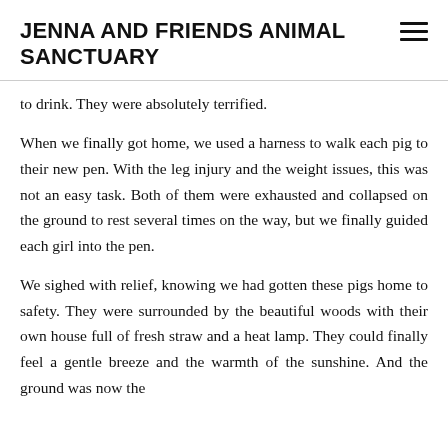JENNA AND FRIENDS ANIMAL SANCTUARY
to drink. They were absolutely terrified.
When we finally got home, we used a harness to walk each pig to their new pen. With the leg injury and the weight issues, this was not an easy task. Both of them were exhausted and collapsed on the ground to rest several times on the way, but we finally guided each girl into the pen.
We sighed with relief, knowing we had gotten these pigs home to safety. They were surrounded by the beautiful woods with their own house full of fresh straw and a heat lamp. They could finally feel a gentle breeze and the warmth of the sunshine. And the ground was now the